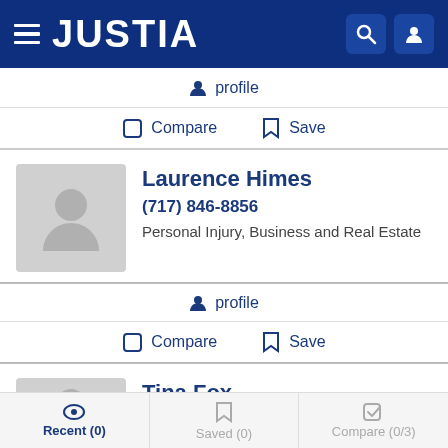JUSTIA
profile
Compare   Save
Laurence Himes
(717) 846-8856
Personal Injury, Business and Real Estate
profile
Compare   Save
Tina Fox
(717) 848-4900
Recent (0)   Saved (0)   Compare (0/3)